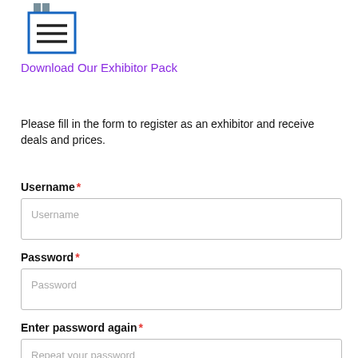[Figure (logo): Document/notebook icon with blue border and horizontal lines, with two vertical bookmark ribbons at top]
Download Our Exhibitor Pack
Please fill in the form to register as an exhibitor and receive deals and prices.
Username *
Username (placeholder)
Password *
Password (placeholder)
Enter password again *
Repeat your password (placeholder)